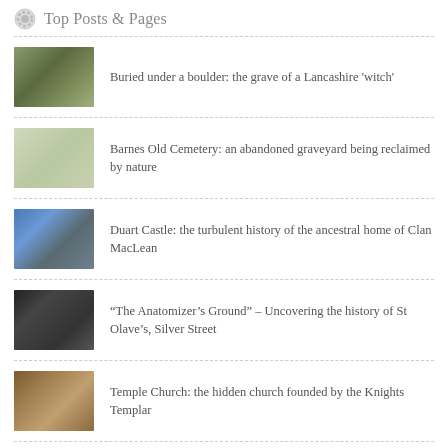Top Posts & Pages
Buried under a boulder: the grave of a Lancashire 'witch'
Barnes Old Cemetery: an abandoned graveyard being reclaimed by nature
Duart Castle: the turbulent history of the ancestral home of Clan MacLean
“The Anatomizer’s Ground” – Uncovering the history of St Olave’s, Silver Street
Temple Church: the hidden church founded by the Knights Templar
The extraordinary ossuary at St Leonard's Church, Hythe